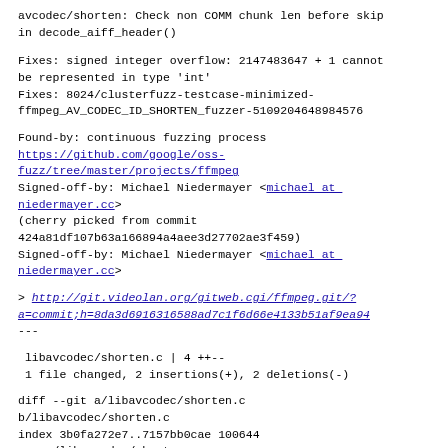avcodec/shorten: Check non COMM chunk len before skip in decode_aiff_header()
Fixes: signed integer overflow: 2147483647 + 1 cannot be represented in type 'int'
Fixes: 8024/clusterfuzz-testcase-minimized-ffmpeg_AV_CODEC_ID_SHORTEN_fuzzer-5109204648984576
Found-by: continuous fuzzing process
https://github.com/google/oss-fuzz/tree/master/projects/ffmpeg
Signed-off-by: Michael Niedermayer <michael at niedermayer.cc>
(cherry picked from commit 424a81df107b63a166894a4aee3d27702ae3f459)
Signed-off-by: Michael Niedermayer <michael at niedermayer.cc>
> http://git.videolan.org/gitweb.cgi/ffmpeg.git/?a=commit;h=8da3d69163165 88ad7c1f6d66e4133b51af9ea94
---
libavcodec/shorten.c | 4 ++--
 1 file changed, 2 insertions(+), 2 deletions(-)
diff --git a/libavcodec/shorten.c b/libavcodec/shorten.c
index 3b0fa272e7..7157bb0cae 100644
--- a/libavcodec/shorten.c